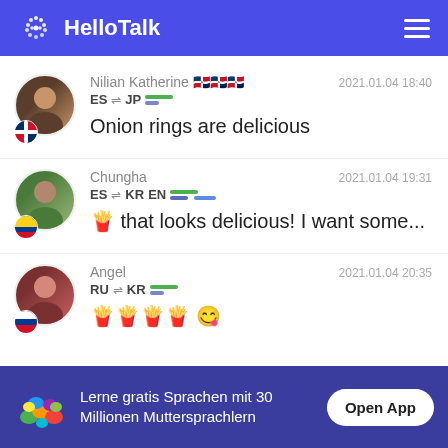[Figure (screenshot): HelloTalk app header with logo and hamburger menu on blue background]
Nilian Katherine 🇩🇴🇩🇴🇩🇴	ES → JP	2021.01.04 18:40
Onion rings are delicious
Chungha	ES → KR EN	2021.01.04 19:31
🍟 that looks delicious! I want some...
Angel	RU → KR	2021.01.04 20:35
🍟🍟🍟🍟 😋
Lerne gratis Sprachen mit 30 Millionen Muttersprachlern
Open App